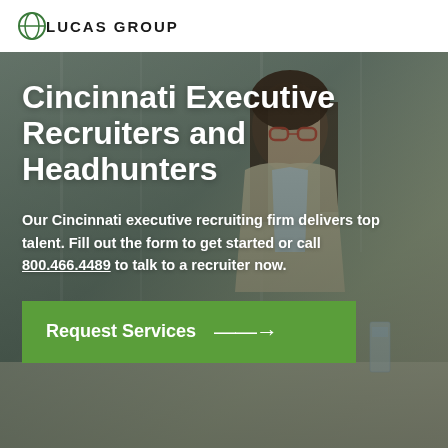LUCAS GROUP
[Figure (photo): Professional woman with glasses in a blazer sitting across a table in what appears to be a business meeting or interview setting; another person is partially visible in the foreground.]
Cincinnati Executive Recruiters and Headhunters
Our Cincinnati executive recruiting firm delivers top talent. Fill out the form to get started or call 800.466.4489 to talk to a recruiter now.
Request Services →